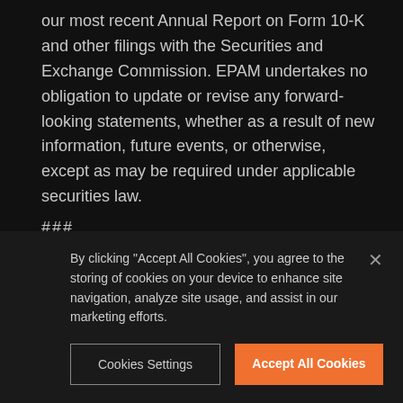our most recent Annual Report on Form 10-K and other filings with the Securities and Exchange Commission. EPAM undertakes no obligation to update or revise any forward-looking statements, whether as a result of new information, future events, or otherwise, except as may be required under applicable securities law.
###
Contact
By clicking "Accept All Cookies", you agree to the storing of cookies on your device to enhance site navigation, analyze site usage, and assist in our marketing efforts.